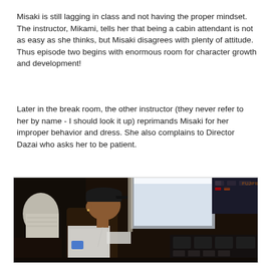Misaki is still lagging in class and not having the proper mindset.  The instructor, Mikami, tells her that being a cabin attendant is not as easy as she thinks, but Misaki disagrees with plenty of attitude.  Thus episode two begins with enormous room for character growth and development!
Later in the break room, the other instructor (they never refer to her by name - I should look it up) reprimands Misaki for her improper behavior and dress.  She also complains to Director Dazai who asks her to be patient.
[Figure (photo): A person wearing a cap sitting in what appears to be an airplane cockpit. They are shown in profile view against a bright window, with cockpit instrument panels visible on both sides. The image is dark with the figure silhouetted.]